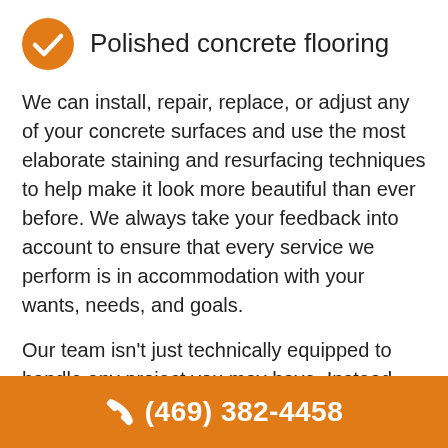Polished concrete flooring
We can install, repair, replace, or adjust any of your concrete surfaces and use the most elaborate staining and resurfacing techniques to help make it look more beautiful than ever before. We always take your feedback into account to ensure that every service we perform is in accommodation with your wants, needs, and goals.
Our team isn't just technically equipped to handle any project you may have. Instead, we come with a genuine passion for the work we do. We bring years of love for the work we do to every project. What that means is that we are personally invested in putting 110% of our best efforts into each job. We're not in it
(469) 382-4458